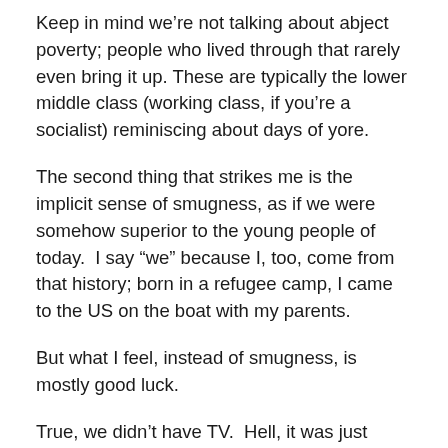Keep in mind we're not talking about abject poverty; people who lived through that rarely even bring it up. These are typically the lower middle class (working class, if you're a socialist) reminiscing about days of yore.
The second thing that strikes me is the implicit sense of smugness, as if we were somehow superior to the young people of today.  I say “we” because I, too, come from that history; born in a refugee camp, I came to the US on the boat with my parents.
But what I feel, instead of smugness, is mostly good luck.
True, we didn’t have TV.  Hell, it was just invented.  Every block in my neighborhood had two or three houses with television; every other block someone knew of someone who had a color TV.  The internet simply didn’t exist.